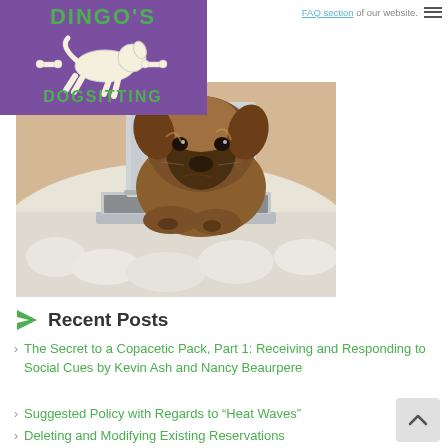FAQ section of our website.
[Figure (logo): Dingo's Dogsitting logo — purple background with white outline dog running with bones and green text]
[Figure (photo): Puppy (appears to be a Chow Chow or similar fluffy breed) lying on a white fluffy rug looking at an open laptop]
Recent Posts
The Secret to a Copacetic Pack, Part 1: Receiving and Responding to Social Cues by Kevin Ash and Nancy Beaurpere
Suggested Policy with Regards to “Heat Waves”
Deleting and Modifying Existing Reservations